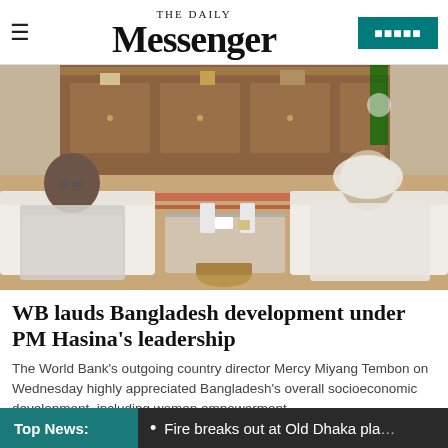THE DAILY Messenger
[Figure (photo): Two women in white traditional attire seated on sofas across from each other in an official meeting room with a wooden cabinet and items on a glass coffee table between them.]
WB lauds Bangladesh development under PM Hasina's leadership
The World Bank's outgoing country director Mercy Miyang Tembon on Wednesday highly appreciated Bangladesh's overall socioeconomic development, including women empowerment...
Top News:  • Fire breaks out at Old Dhaka pla...